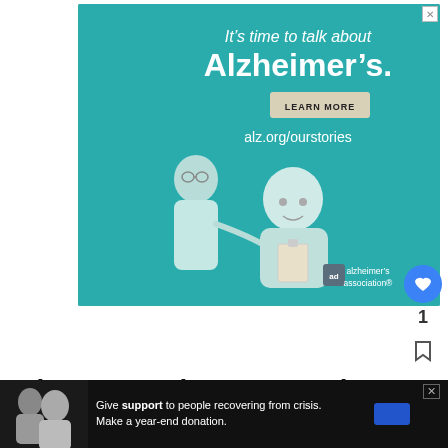[Figure (illustration): Alzheimer's Association advertisement with teal background. Text reads 'It’s time to talk about Alzheimer’s.' with a LEARN MORE button and alz.org/ourstories URL. Illustration shows two elderly figures. Alzheimer's Association logo at bottom right.]
What Does The Name Cal- Mean?
[Figure (screenshot): WHAT'S NEXT popup with thumbnail and text 'Newborn Leg Shaking: Wh...']
[Figure (illustration): Bottom advertisement: Give support to people recovering from crisis. Make a year-end donation. Dark background with couple image.]